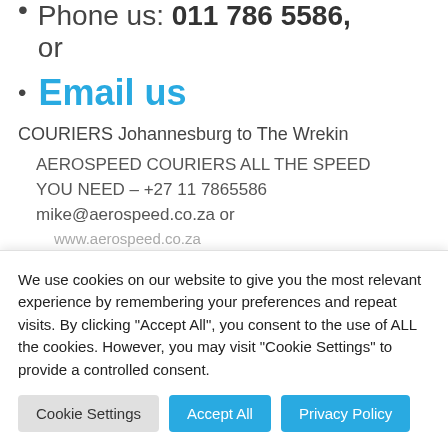Phone us: 011 786 5586, or
Email us
COURIERS Johannesburg to The Wrekin
AEROSPEED COURIERS ALL THE SPEED YOU NEED – +27 11 7865586 mike@aerospeed.co.za or www.aerospeed.co.za
We use cookies on our website to give you the most relevant experience by remembering your preferences and repeat visits. By clicking "Accept All", you consent to the use of ALL the cookies. However, you may visit "Cookie Settings" to provide a controlled consent.